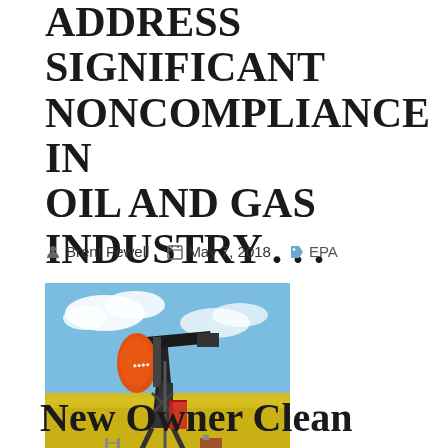ADDRESSS SIGNIFICANT NONCOMPLIANCE IN OIL AND GAS INDUSTRY . . .
Brent Fewell  May 7, 2018  EPA
[Figure (photo): Oil pump jack (pumpjack) in a yellow flowering field under a blue sky with clouds. The pump has an orange teardrop-shaped decorative element on its arm.]
New Owner Clean